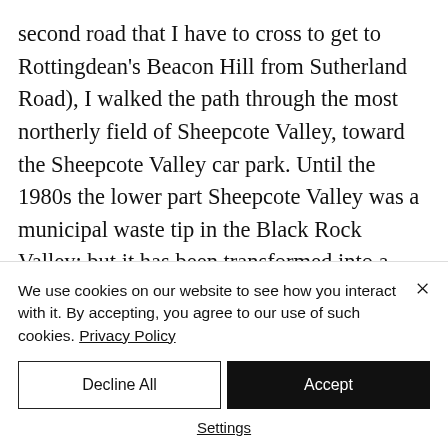second road that I have to cross to get to Rottingdean's Beacon Hill from Sutherland Road), I walked the path through the most northerly field of Sheepcote Valley, toward the Sheepcote Valley car park. Until the 1980s the lower part Sheepcote Valley was a municipal waste tip in the Black Rock Valley; but it has been transformed into a local nature reserve, which is often used as a stopping point by
We use cookies on our website to see how you interact with it. By accepting, you agree to our use of such cookies. Privacy Policy
Decline All
Accept
Settings